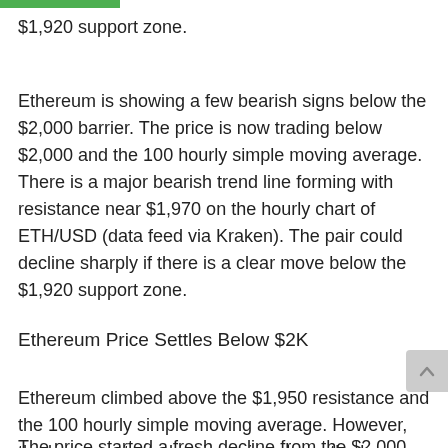$1,920 support zone.
Ethereum is showing a few bearish signs below the $2,000 barrier. The price is now trading below $2,000 and the 100 hourly simple moving average. There is a major bearish trend line forming with resistance near $1,970 on the hourly chart of ETH/USD (data feed via Kraken). The pair could decline sharply if there is a clear move below the $1,920 support zone.
Ethereum Price Settles Below $2K
Ethereum climbed above the $1,950 resistance and the 100 hourly simple moving average. However, the bears protected major gains above the key $2,000 zone.
The price started a fresh decline from the $2,000 zone high. The